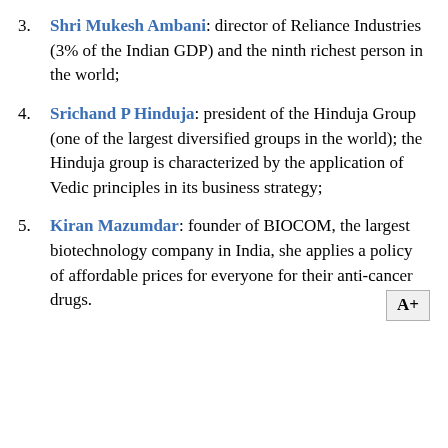Shri Mukesh Ambani: director of Reliance Industries (3% of the Indian GDP) and the ninth richest person in the world;
Srichand P Hinduja: president of the Hinduja Group (one of the largest diversified groups in the world); the Hinduja group is characterized by the application of Vedic principles in its business strategy;
Kiran Mazumdar: founder of BIOCOM, the largest biotechnology company in India, she applies a policy of affordable prices for everyone for their anti-cancer drugs.